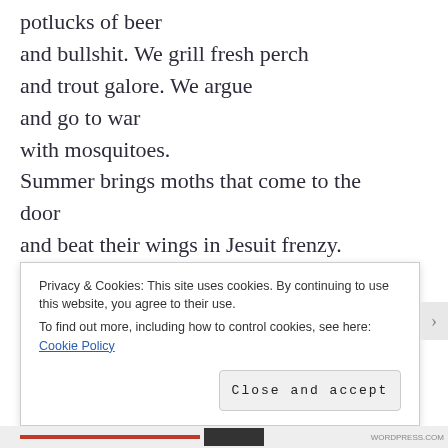potlucks of beer
and bullshit. We grill fresh perch
and trout galore. We argue
and go to war
with mosquitoes.
Summer brings moths that come to the door
and beat their wings in Jesuit frenzy. Crickets
conduct great symphonies to the firefly ballet
of lightning bugs
that flicker the lawn. The sky is full
of heat lightning. The moon
Privacy & Cookies: This site uses cookies. By continuing to use this website, you agree to their use.
To find out more, including how to control cookies, see here: Cookie Policy